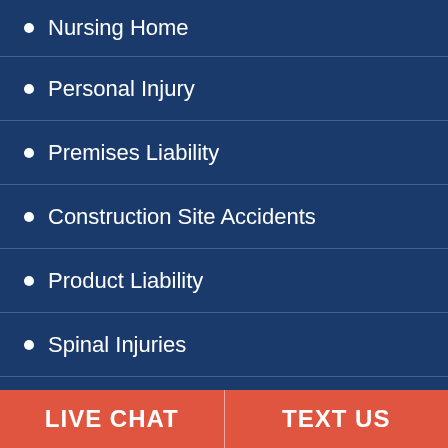Nursing Home
Personal Injury
Premises Liability
Construction Site Accidents
Product Liability
Spinal Injuries
Traumatic Brain Injury
Wrongful Death
LIVE CHAT   TEXT US